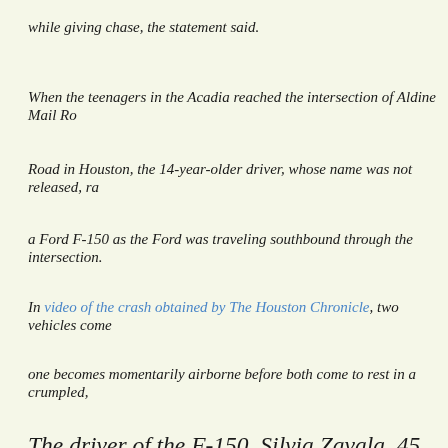while giving chase, the statement said.
When the teenagers in the Acadia reached the intersection of Aldine Mail Ro
Road in Houston, the 14-year-older driver, whose name was not released, ra
a Ford F-150 as the Ford was traveling southbound through the intersection.
In video of the crash obtained by The Houston Chronicle, two vehicles come
one becomes momentarily airborne before both come to rest in a crumpled,
The driver of the F-150, Silvia Zavala, 45, was decla
scene by paramedics, the sheriff’s office said. Ms. Z
mother of two, had been visiting family for the holida